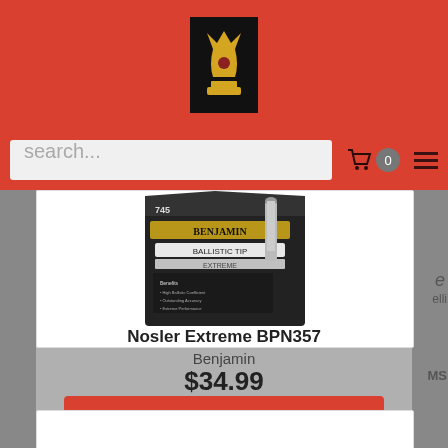[Figure (logo): Gold trophy/chess piece icon on black background in red header bar]
search...
[Figure (photo): Benjamin Nosler Extreme BPN357 pellet box product photo, dark packaging with gold and white text]
Nosler Extreme BPN357
Benjamin
$34.99
Add To Cart